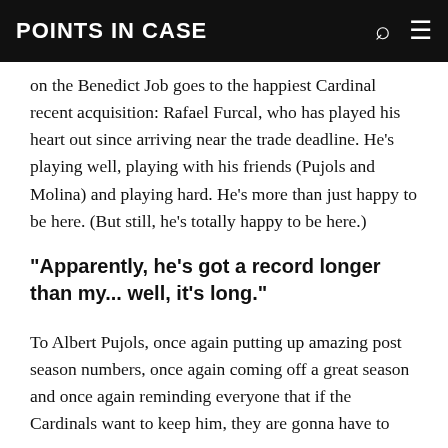POINTS IN CASE
on the Benedict Job goes to the happiest Cardinal recent acquisition: Rafael Furcal, who has played his heart out since arriving near the trade deadline. He's playing well, playing with his friends (Pujols and Molina) and playing hard. He's more than just happy to be here. (But still, he's totally happy to be here.)
"Apparently, he's got a record longer than my... well, it's long."
To Albert Pujols, once again putting up amazing post season numbers, once again coming off a great season and once again reminding everyone that if the Cardinals want to keep him, they are gonna have to